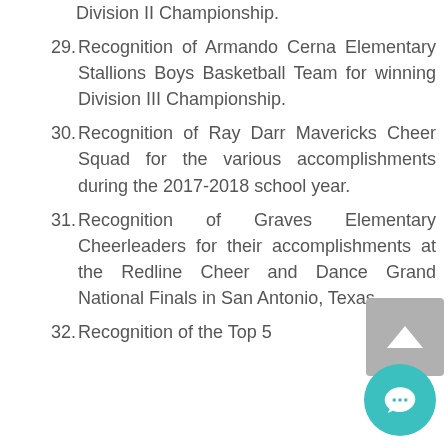Division II Championship.
29. Recognition of Armando Cerna Elementary Stallions Boys Basketball Team for winning Division III Championship.
30. Recognition of Ray Darr Mavericks Cheer Squad for the various accomplishments during the 2017-2018 school year.
31. Recognition of Graves Elementary Cheerleaders for their accomplishments at the Redline Cheer and Dance Grand National Finals in San Antonio, Texas.
32. Recognition of the Top 5 Schools in the 2017-2018 TRISD...